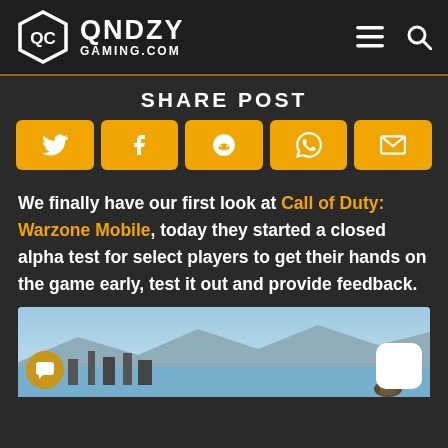QNDZY GAMING.COM
SHARE POST
[Figure (infographic): Five social share buttons: Twitter, Facebook, Reddit, WhatsApp, Email — all with gold/yellow background and white icons]
We finally have our first look at Call of Duty: Warzone Mobile, today they started a closed alpha test for select players to get their hands on the game early, test it out and provide feedback.
[Figure (photo): A panoramic coastal city landscape screenshot from Warzone Mobile, showing mountains, water, and a soldier in the bottom right. Chat bubble icon bottom-left and dark mode moon icon bottom-right.]